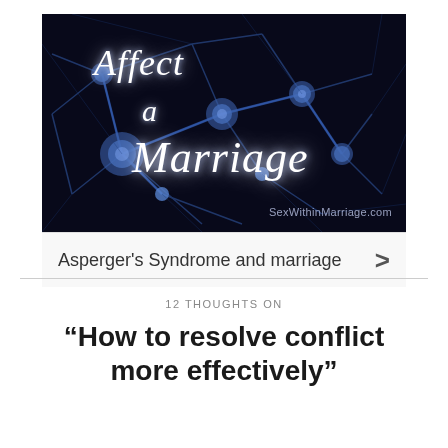[Figure (illustration): Dark neural network background image with blue glowing connections and text overlay reading 'Affect a Marriage' in italic white font, with 'SexWithinMarriage.com' watermark in lower right]
Asperger's Syndrome and marriage >
12 THOUGHTS ON
“How to resolve conflict more effectively”